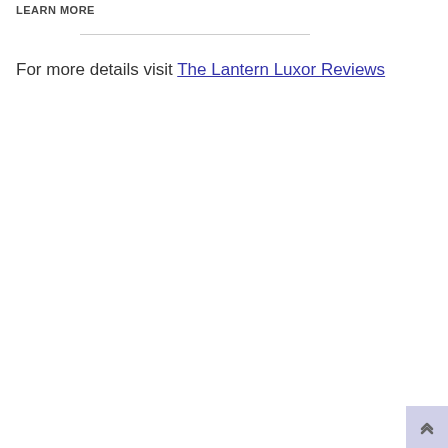LEARN MORE
For more details visit The Lantern Luxor Reviews